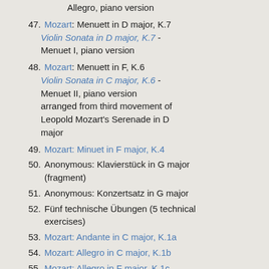Allegro, piano version (truncated top)
47. Mozart: Menuett in D major, K.7 — Violin Sonata in D major, K.7 - Menuet I, piano version
48. Mozart: Menuett in F, K.6 — Violin Sonata in C major, K.6 - Menuet II, piano version arranged from third movement of Leopold Mozart's Serenade in D major
49. Mozart: Minuet in F major, K.4
50. Anonymous: Klavierstück in G major (fragment)
51. Anonymous: Konzertsatz in G major
52. Fünf technische Übungen (5 technical exercises)
53. Mozart: Andante in C major, K.1a
54. Mozart: Allegro in C major, K.1b
55. Mozart: Allegro in F major, K.1c
56. Mozart: Minuet in F major, K.1d (truncated bottom)